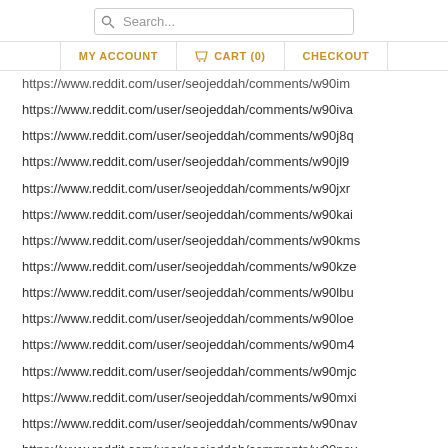Search... | MY ACCOUNT | CART (0) | CHECKOUT
https://www.reddit.com/user/seojeddah/comments/w90im
https://www.reddit.com/user/seojeddah/comments/w90iva
https://www.reddit.com/user/seojeddah/comments/w90j8q
https://www.reddit.com/user/seojeddah/comments/w90jl9
https://www.reddit.com/user/seojeddah/comments/w90jxr
https://www.reddit.com/user/seojeddah/comments/w90kai
https://www.reddit.com/user/seojeddah/comments/w90kms
https://www.reddit.com/user/seojeddah/comments/w90kze
https://www.reddit.com/user/seojeddah/comments/w90lbu
https://www.reddit.com/user/seojeddah/comments/w90loe
https://www.reddit.com/user/seojeddah/comments/w90m4
https://www.reddit.com/user/seojeddah/comments/w90mjc
https://www.reddit.com/user/seojeddah/comments/w90mxi
https://www.reddit.com/user/seojeddah/comments/w90nav
https://www.reddit.com/user/seojeddah/comments/w90nov
https://www.reddit.com/user/seojeddah/comments/w90ocs
https://www.reddit.com/user/seojeddah/comments/w90oqv